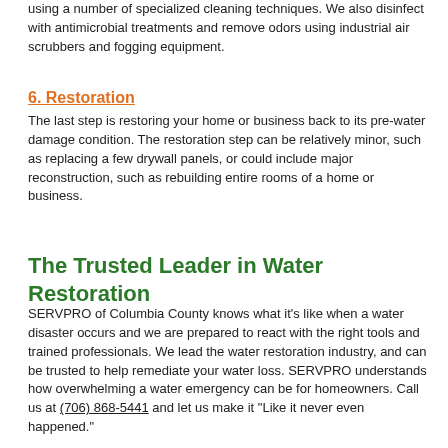using a number of specialized cleaning techniques. We also disinfect with antimicrobial treatments and remove odors using industrial air scrubbers and fogging equipment.
6. Restoration
The last step is restoring your home or business back to its pre-water damage condition. The restoration step can be relatively minor, such as replacing a few drywall panels, or could include major reconstruction, such as rebuilding entire rooms of a home or business.
The Trusted Leader in Water Restoration
SERVPRO of Columbia County knows what it’s like when a water disaster occurs and we are prepared to react with the right tools and trained professionals. We lead the water restoration industry, and can be trusted to help remediate your water loss. SERVPRO understands how overwhelming a water emergency can be for homeowners. Call us at (706) 868-5441 and let us make it “Like it never even happened.”